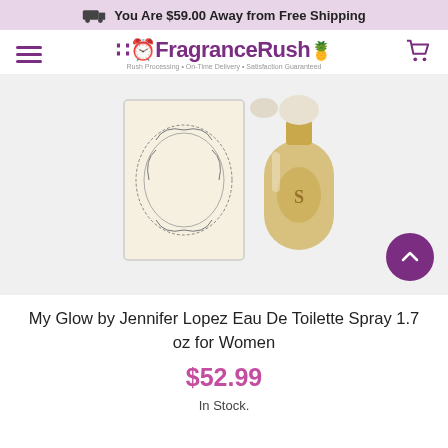You Are $59.00 Away from Free Shipping
[Figure (logo): FragranceRush logo with tagline: Rush Processing · On-Time Delivery · Satisfaction Guaranteed]
[Figure (photo): My Glow by Jennifer Lopez perfume product photo showing box and bottle on light background]
My Glow by Jennifer Lopez Eau De Toilette Spray 1.7 oz for Women
$52.99
In Stock.